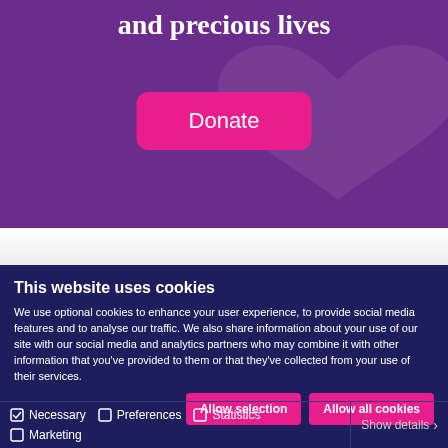and precious lives
[Figure (illustration): Pink Donate button on purple background with faint heart illustration]
This website uses cookies
We use optional cookies to enhance your user experience, to provide social media features and to analyse our traffic. We also share information about your use of our site with our social media and analytics partners who may combine it with other information that you've provided to them or that they've collected from your use of their services.
Allow selection   Allow all cookies
Necessary   Preferences   Statistics   Marketing   Show details